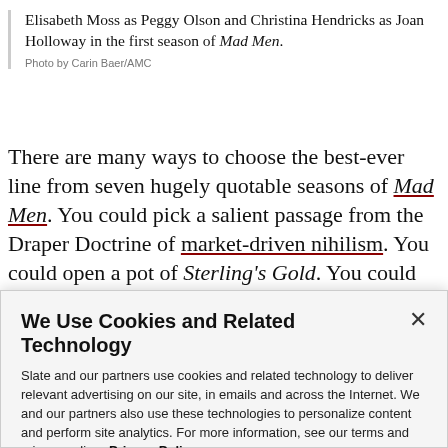Elisabeth Moss as Peggy Olson and Christina Hendricks as Joan Holloway in the first season of Mad Men.
Photo by Carin Baer/AMC
There are many ways to choose the best-ever line from seven hugely quotable seasons of Mad Men. You could pick a salient passage from the Draper Doctrine of market-driven nihilism. You could open a pot of Sterling's Gold. You could tap a maple on a cold Vermont
We Use Cookies and Related Technology
Slate and our partners use cookies and related technology to deliver relevant advertising on our site, in emails and across the Internet. We and our partners also use these technologies to personalize content and perform site analytics. For more information, see our terms and privacy policy. Privacy Policy
OK